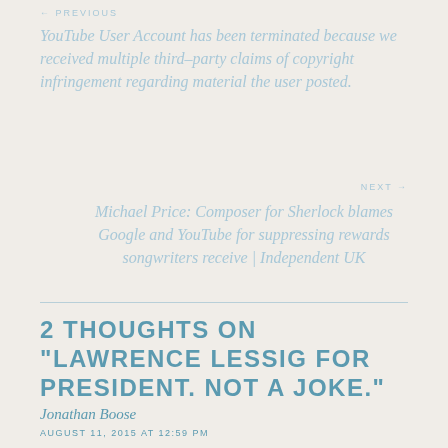← PREVIOUS
YouTube User Account has been terminated because we received multiple third-party claims of copyright infringement regarding material the user posted.
NEXT →
Michael Price: Composer for Sherlock blames Google and YouTube for suppressing rewards songwriters receive | Independent UK
2 THOUGHTS ON "LAWRENCE LESSIG FOR PRESIDENT. NOT A JOKE."
Jonathan Boose
AUGUST 11, 2015 AT 12:59 PM